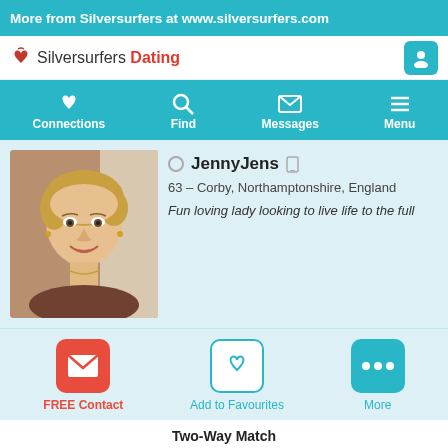More from Silversurfers at www.silversurfers.com
[Figure (logo): Silversurfers Dating logo with heart icon and user profile button]
[Figure (infographic): Navigation bar with Connections (heart), Find (search), Messages (envelope), Menu (hamburger) icons on teal background]
[Figure (photo): Profile photo of a woman with short blonde hair, smiling, wearing earrings]
JennyJens
63 – Corby, Northamptonshire, England
Fun loving lady looking to live life to the full
[Figure (infographic): Action buttons: FREE Contact (red envelope icon), Add to Favourites (teal heart icon), More (teal dots icon)]
Two-Way Match
Join and create your free profile today to see how well you